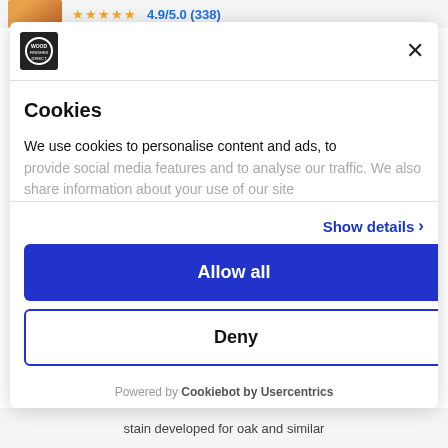[Figure (screenshot): Cookie consent modal dialog over a product page. Modal contains a logo, close button, title 'Cookies', explanatory text, 'Show details' link, 'Allow all' blue button, 'Deny' outlined button, and 'Powered by Cookiebot by Usercentrics' footer.]
Cookies
We use cookies to personalise content and ads, to provide social media features and to analyse our traffic. We also share information about your use of our site
Show details >
Allow all
Deny
Powered by Cookiebot by Usercentrics
stain developed for oak and similar